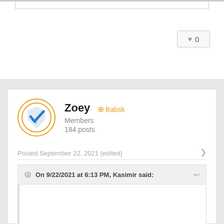[Figure (other): Like/heart button showing count 0]
Zoey  + Babsk
Members
184 posts
Posted September 22, 2021 (edited)
On 9/22/2021 at 6:13 PM, Kasimir said:
Thank you, and yeah, I like the pattern of putting shi at the end of them all, it is quite nice.